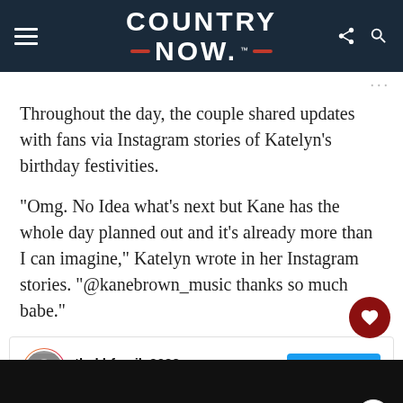COUNTRY NOW
Throughout the day, the couple shared updates with fans via Instagram stories of Katelyn’s birthday festivities.
“Omg. No Idea what’s next but Kane has the whole day planned out and it’s already more than I can imagine,” Katelyn wrote in her Instagram stories. “@kanebrown_music thanks so much babe.”
[Figure (screenshot): Instagram embed card showing account thekbfamily2022, Original audio, with a View profile button]